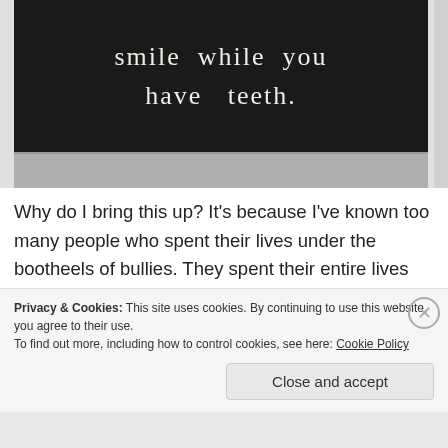[Figure (photo): Black and white photo of a dark chalkboard sign with white handwritten text reading 'smile while you have teeth.' resting on a concrete surface.]
Why do I bring this up? It's because I've known too many people who spent their lives under the bootheels of bullies. They spent their entire lives taking abuse and feeling powerless. They spent their lives never knowing
Privacy & Cookies: This site uses cookies. By continuing to use this website, you agree to their use.
To find out more, including how to control cookies, see here: Cookie Policy
Close and accept